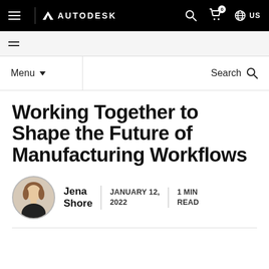AUTODESK — navigation bar with hamburger menu, search, cart, and US locale
[Figure (screenshot): Autodesk website navigation bar with hamburger icon, Autodesk logo, search icon, cart with 0 items, globe icon and US text]
Menu ▼   Search 🔍
Working Together to Shape the Future of Manufacturing Workflows
Jena Shore  |  JANUARY 12, 2022  |  1 MIN READ